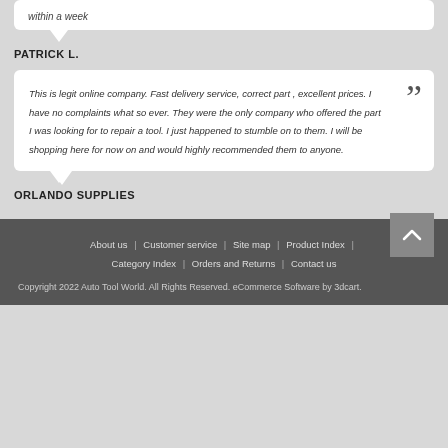within a week
PATRICK L.
This is legit online company. Fast delivery service, correct part , excellent prices. I have no complaints what so ever. They were the only company who offered the part I was looking for to repair a tool. I just happened to stumble on to them. I will be shopping here for now on and would highly recommended them to anyone.
ORLANDO SUPPLIES
About us | Customer service | Site map | Product Index | Category Index | Orders and Returns | Contact us
Copyright 2022 Auto Tool World. All Rights Reserved. eCommerce Software by 3dcart.